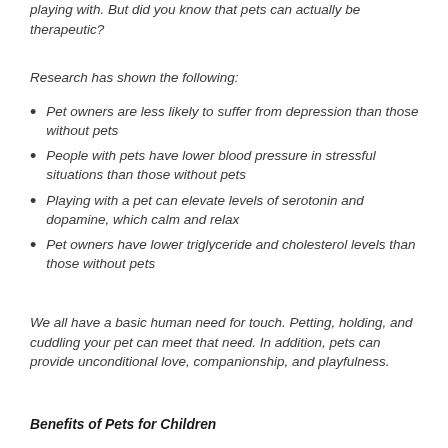playing with. But did you know that pets can actually be therapeutic?
Research has shown the following:
Pet owners are less likely to suffer from depression than those without pets
People with pets have lower blood pressure in stressful situations than those without pets
Playing with a pet can elevate levels of serotonin and dopamine, which calm and relax
Pet owners have lower triglyceride and cholesterol levels than those without pets
We all have a basic human need for touch. Petting, holding, and cuddling your pet can meet that need. In addition, pets can provide unconditional love, companionship, and playfulness.
Benefits of Pets for Children